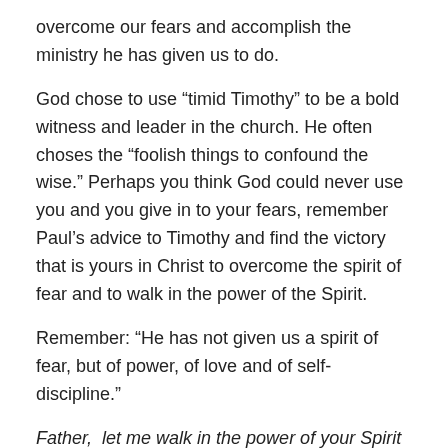overcome our fears and accomplish the ministry he has given us to do.
God chose to use “timid Timothy” to be a bold witness and leader in the church. He often choses the “foolish things to confound the wise.” Perhaps you think God could never use you and you give in to your fears, remember Paul’s advice to Timothy and find the victory that is yours in Christ to overcome the spirit of fear and to walk in the power of the Spirit.
Remember: “He has not given us a spirit of fear, but of power, of love and of self-discipline.”
Father,  let me walk in the power of your Spirit and not in a spirit of fear. Fill me with power, love and self-discipline and enable me to be bold in testifying about Jesus. Amen.